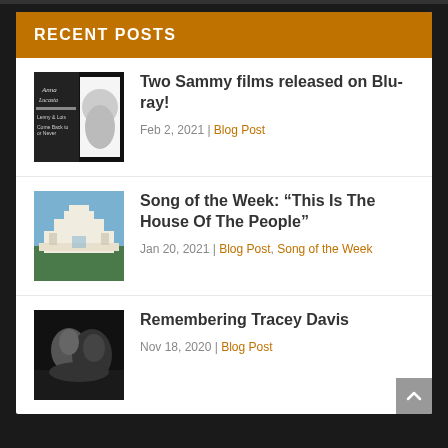RECENT POSTS
Two Sammy films released on Blu-ray! | Feb 2, 2021 | Blog Post
Song of the Week: “This Is The House Of The People” | Jan 20, 2021 | Blog Post, Song of the Week
Remembering Tracey Davis | Nov 18, 2020 | Blog Post
ABOUT